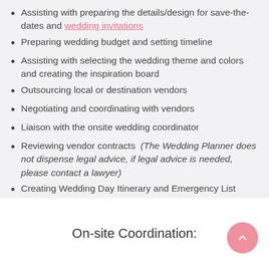Assisting with preparing the details/design for save-the-dates and wedding invitations
Preparing wedding budget and setting timeline
Assisting with selecting the wedding theme and colors and creating the inspiration board
Outsourcing local or destination vendors
Negotiating and coordinating with vendors
Liaison with the onsite wedding coordinator
Reviewing vendor contracts (The Wedding Planner does not dispense legal advice, if legal advice is needed, please contact a lawyer)
Creating Wedding Day Itinerary and Emergency List
On-site Coordination: